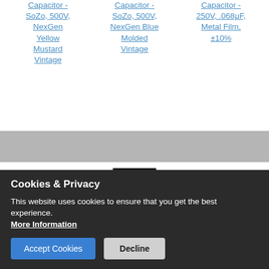Capacitor - SoZo, 500V, NexGen Yellow Mustard Vintage
Capacitor - SoZo, 500V, NexGen Blue Molded Vintage
Capacitor - 250V, .068μF, Metal Film, ±10%
[Figure (logo): ECE or similar brand logo — black rectangle with white E and C letters and a red bar]
Cookies & Privacy
This website uses cookies to ensure that you get the best experience.
More Information
[Accept Cookies] [Decline]